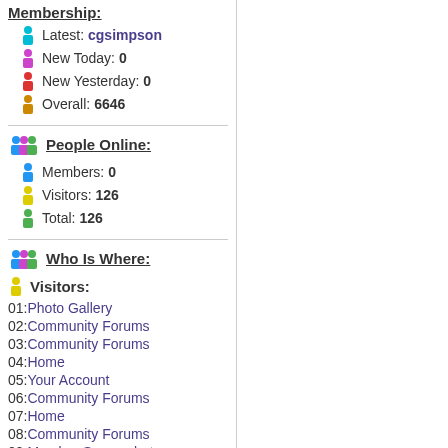Membership:
Latest: cgsimpson
New Today: 0
New Yesterday: 0
Overall: 6646
People Online:
Members: 0
Visitors: 126
Total: 126
Who Is Where:
Visitors:
01: Photo Gallery
02: Community Forums
03: Community Forums
04: Home
05: Your Account
06: Community Forums
07: Home
08: Community Forums
09: Member Screenshots
10: Home
11: Community Forums